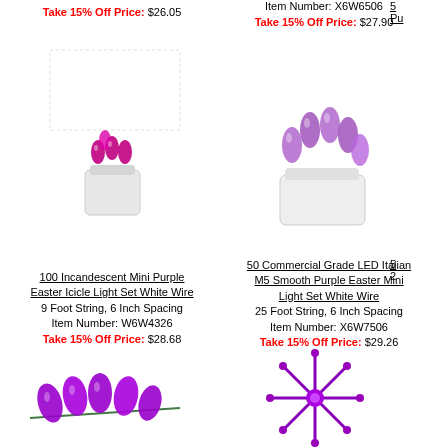Take 15% Off Price: $26.05
Item Number: X6W6506
Take 15% Off Price: $27.90
[Figure (photo): 100 Incandescent Mini Purple Easter Icicle Light Set on white wire, close-up of purple bulbs]
[Figure (photo): 50 Commercial Grade LED Italian M5 Smooth Purple Easter Mini Light Set on white wire, close-up of purple bulbs]
100 Incandescent Mini Purple Easter Icicle Light Set White Wire
9 Foot String, 6 Inch Spacing
Item Number: W6W4326
Take 15% Off Price: $28.68
50 Commercial Grade LED Italian M5 Smooth Purple Easter Mini Light Set White Wire
25 Foot String, 6 Inch Spacing
Item Number: X6W7506
Take 15% Off Price: $29.26
5[0] Pu[rple]...
[Figure (photo): Purple C-style light set with multiple purple bulbs on green wire, Easter decoration]
[Figure (photo): Purple starburst/snowflake decoration with radiating spikes and purple center bulb]